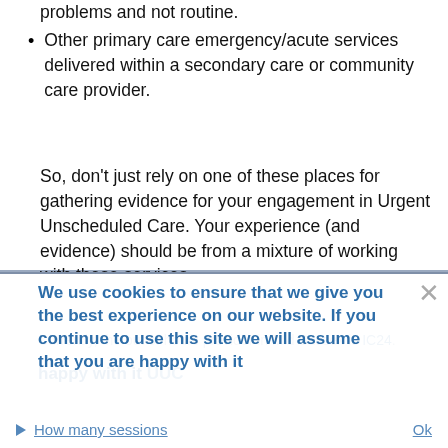problems and not routine.
Other primary care emergency/acute services delivered within a secondary care or community care provider.
So, don't just rely on one of these places for gathering evidence for your engagement in Urgent Unscheduled Care. Your experience (and evidence) should be from a mixture of working with these services.
We use cookies to ensure that we give you the best experience on our website. If you continue to use this site we will assume that you are happy with it
Currently, the out of hours provider in Mid Sussex is IC24.
happy with it UUC
How many sessions
Ok